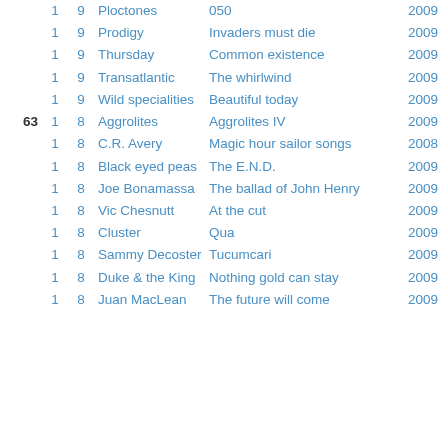| Rank | #1 | #2 | Artist | Album | Year | N |
| --- | --- | --- | --- | --- | --- | --- |
|  | 1 | 9 | Ploctones | 050 | 2009 | 3 |
|  | 1 | 9 | Prodigy | Invaders must die | 2009 | 3 |
|  | 1 | 9 | Thursday | Common existence | 2009 | 1 |
|  | 1 | 9 | Transatlantic | The whirlwind | 2009 | 4 |
|  | 1 | 9 | Wild specialities | Beautiful today | 2009 | 2 |
| 63 | 1 | 8 | Aggrolites | Aggrolites IV | 2009 |  |
|  | 1 | 8 | C.R. Avery | Magic hour sailor songs | 2008 | 1 |
|  | 1 | 8 | Black eyed peas | The E.N.D. | 2009 | 1 |
|  | 1 | 8 | Joe Bonamassa | The ballad of John Henry | 2009 | 5 |
|  | 1 | 8 | Vic Chesnutt | At the cut | 2009 | 2 |
|  | 1 | 8 | Cluster | Qua | 2009 | 1 |
|  | 1 | 8 | Sammy Decoster | Tucumcari | 2009 |  |
|  | 1 | 8 | Duke & the King | Nothing gold can stay | 2009 | 2 |
|  | 1 | 8 | Juan MacLean | The future will come | 2009 | 2 |